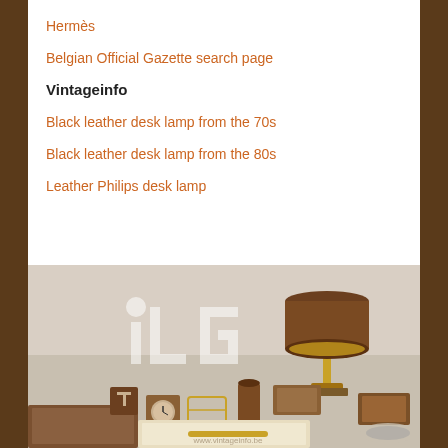Hermès
Belgian Official Gazette search page
Vintageinfo
Black leather desk lamp from the 70s
Black leather desk lamp from the 80s
Leather Philips desk lamp
[Figure (photo): Photo of a leather desk accessory set including a desk lamp with brown leather shade and brass stem, alongside various brown leather desk accessories such as a clock, pen holder, document tray, and other items arranged on a light surface. An 'ILG' logo watermark is visible.]